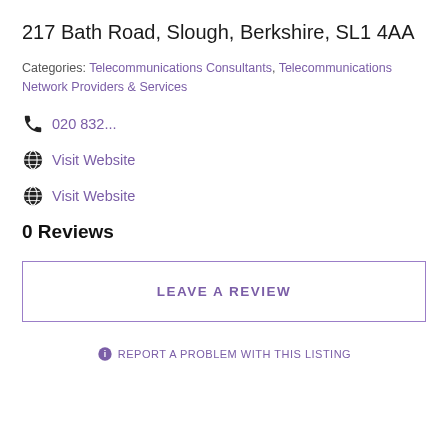217 Bath Road, Slough, Berkshire, SL1 4AA
Categories: Telecommunications Consultants, Telecommunications Network Providers & Services
020 832...
Visit Website
Visit Website
0 Reviews
LEAVE A REVIEW
REPORT A PROBLEM WITH THIS LISTING